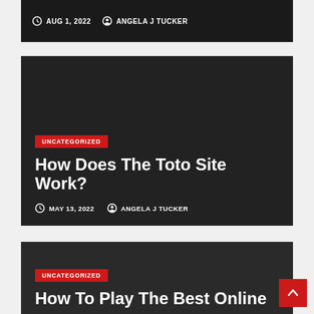AUG 1, 2022  ANGELA J TUCKER
How Does The Toto Site Work?
UNCATEGORIZED
MAY 13, 2022  ANGELA J TUCKER
UNCATEGORIZED
How To Play The Best Online